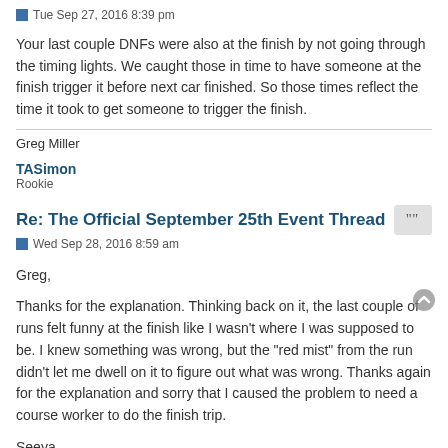Tue Sep 27, 2016 8:39 pm
Your last couple DNFs were also at the finish by not going through the timing lights. We caught those in time to have someone at the finish trigger it before next car finished. So those times reflect the time it took to get someone to trigger the finish.
Greg Miller
TASimon
Rookie
Re: The Official September 25th Event Thread
Wed Sep 28, 2016 8:59 am
Greg,
Thanks for the explanation. Thinking back on it, the last couple of runs felt funny at the finish like I wasn't where I was supposed to be. I knew something was wrong, but the "red mist" from the run didn't let me dwell on it to figure out what was wrong. Thanks again for the explanation and sorry that I caused the problem to need a course worker to do the finish trip.
Seeya,